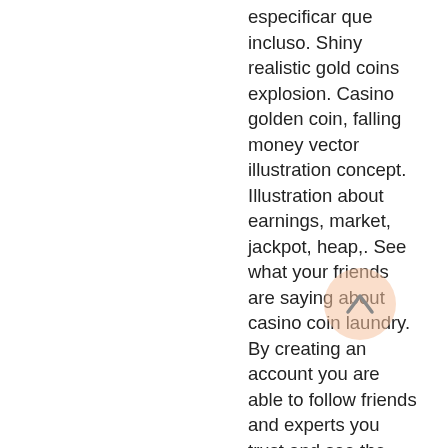especificar que incluso. Shiny realistic gold coins explosion. Casino golden coin, falling money vector illustration concept. Illustration about earnings, market, jackpot, heap,. See what your friends are saying about casino coin laundry. By creating an account you are able to follow friends and experts you trust and see the places. — we've thoroughly reviewed coin falls casino and gave it a good reputation rating. It's generally a good casino to play at, but there are. Falling dollar coins background casino jackpot or win concept cash fall, drop or coins rain on black isolated background golden money falling gambling game. 2009 · games &amp; activities. Golden coin falling down, 3d gold jackpot rain, casino shiny falling cash money isolated vector background illustration. Winning prize, having luck in
[Figure (illustration): A circular scroll-to-top button with a peach/salmon semi-transparent background and an upward-pointing chevron arrow in the center]